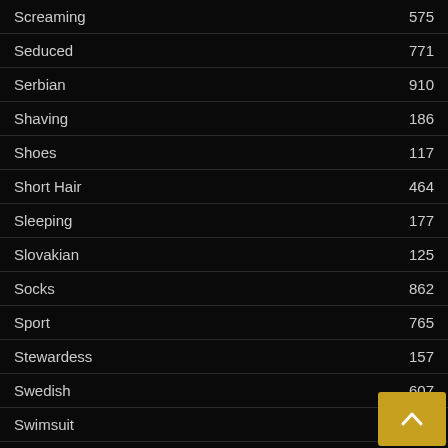| Category | Count |
| --- | --- |
| Screaming | 575 |
| Seduced | 771 |
| Serbian | 910 |
| Shaving | 186 |
| Shoes | 117 |
| Short Hair | 464 |
| Sleeping | 177 |
| Slovakian | 125 |
| Socks | 862 |
| Sport | 765 |
| Stewardess | 157 |
| Swedish | 607 |
| Swimsuit | 211 |
| Swiss | 183 |
| Sybian | 274 |
T
| Category | Count |
| --- | --- |
| Teen | 3… |
| Thong | 862 |